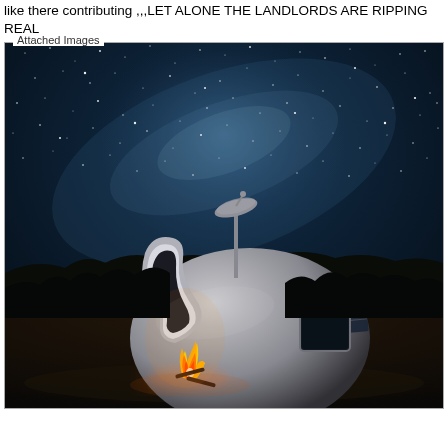like there contributing ,,,LET ALONE THE LANDLORDS ARE RIPPING REAL
[Figure (photo): A futuristic egg-shaped metallic pod structure sitting outdoors at night under a starry Milky Way sky, with a small campfire burning in front of it and a satellite dish or wind turbine on top.]